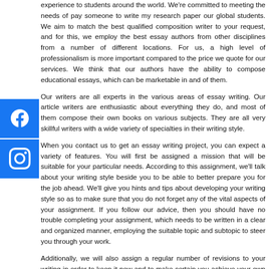experience to students around the world. We're committed to meeting the needs of pay someone to write my research paper our global students. We aim to match the best qualified composition writer to your request, and for this, we employ the best essay authors from other disciplines from a number of different locations. For us, a high level of professionalism is more important compared to the price we quote for our services. We think that our authors have the ability to compose educational essays, which can be marketable in and of them.
Our writers are all experts in the various areas of essay writing. Our article writers are enthusiastic about everything they do, and most of them compose their own books on various subjects. They are all very skillful writers with a wide variety of specialties in their writing style.
When you contact us to get an essay writing project, you can expect a variety of features. You will first be assigned a mission that will be suitable for your particular needs. According to this assignment, we'll talk about your writing style beside you to be able to better prepare you for the job ahead. We'll give you hints and tips about developing your writing style so as to make sure that you do not forget any of the vital aspects of your assignment. If you follow our advice, then you should have no trouble completing your assignment, which needs to be written in a clear and organized manner, employing the suitable topic and subtopic to steer you through your work.
Additionally, we will also assign a regular number of revisions to your writing in order to keep it new and to make certain you achieve your own deadlines. Along with these frequent revisions, we will continue to send you the loopholes so you are able to make the necessary adjustments as you see fit. Most of our essay writers are devoted to delivering quality content to their clientele. They work hard, but also love their jobs, since the consequence of the efforts is often specialist and well-written.
Finally, we'll notify you of our coverage about deadlines and revisions. We would like you to be able to comprehend how we operate, and we don't like any deadlines that are too rigorous or that produce problems within our process of delivering quality articles. The majority of our essay writers are native English speakers, so there is no